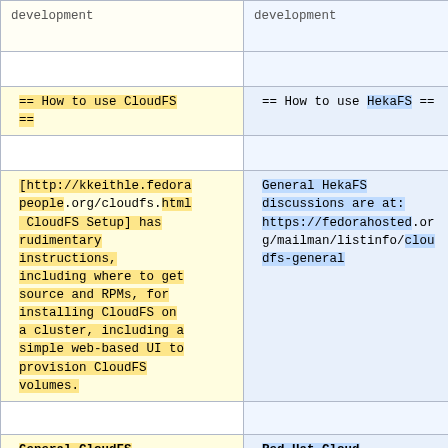development
development
== How to use CloudFS ==
== How to use HekaFS ==
[http://kkeithle.fedorapeople.org/cloudfs.html CloudFS Setup] has rudimentary instructions, including where to get source and RPMs, for installing CloudFS on a cluster, including a simple web-based UI to provision CloudFS volumes.
General HekaFS discussions are at: https://fedorahosted.org/mailman/listinfo/cloudfs-general
General CloudFS
Red Hat Cloud